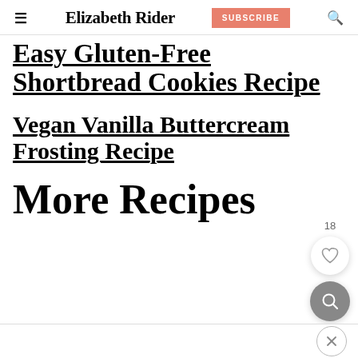Elizabeth Rider — SUBSCRIBE
Easy Gluten-Free Shortbread Cookies Recipe
Vegan Vanilla Buttercream Frosting Recipe
More Recipes